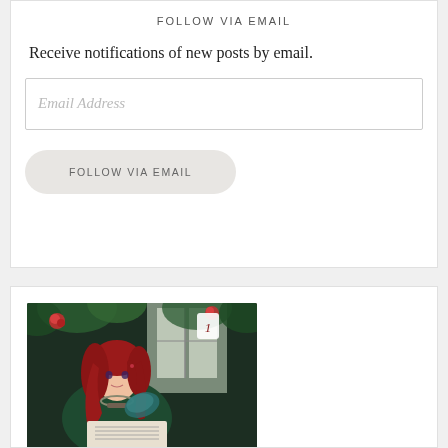FOLLOW VIA EMAIL
Receive notifications of new posts by email.
Email Address
FOLLOW VIA EMAIL
[Figure (illustration): Anime-style illustration of a young woman with long red hair wearing a dark green dress and ornate necklace, holding a teal fan/book, seated at what appears to be a piano or desk. Red roses and green foliage in background, near a window. A small card with number 1 visible in upper right area.]